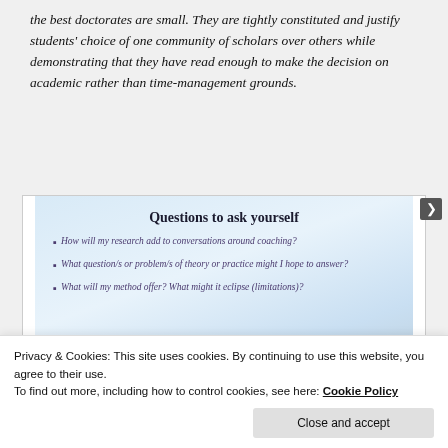the best doctorates are small. They are tightly constituted and justify students' choice of one community of scholars over others while demonstrating that they have read enough to make the decision on academic rather than time-management grounds.
[Figure (screenshot): A slide titled 'Questions to ask yourself' with a beach background image. Contains three bullet points in purple italic text: 'How will my research add to conversations around coaching?', 'What question/s or problem/s of theory or practice might I hope to answer?', 'What will my method offer? What might it eclipse (limitations)?'. At the bottom right: 'ALL research has limitations.' and 'E.g. specific context, small unrepresentative sample of participants, and duration.' with a small attribution line.]
Privacy & Cookies: This site uses cookies. By continuing to use this website, you agree to their use.
To find out more, including how to control cookies, see here: Cookie Policy